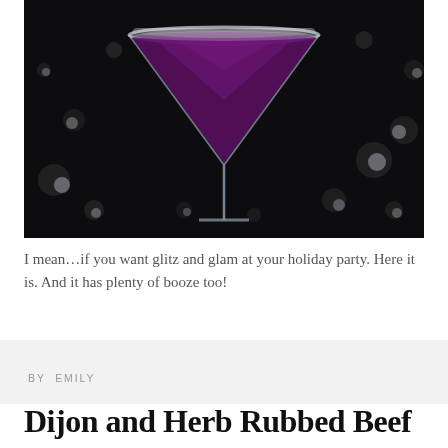[Figure (photo): A martini glass filled with deep purple/burgundy cocktail, rimmed with white sugar or salt, set against a dark background with bokeh light spots suggesting a festive night scene.]
I mean…if you want glitz and glam at your holiday party. Here it is. And it has plenty of booze too!
BY EMILY
Dijon and Herb Rubbed Beef